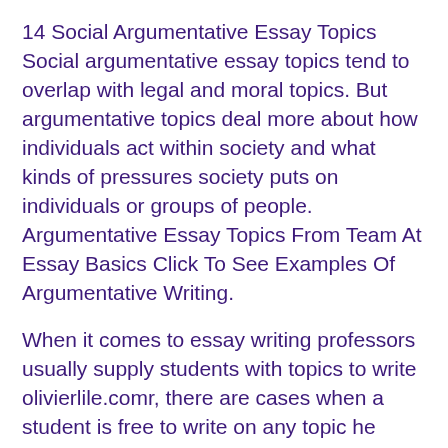14 Social Argumentative Essay Topics Social argumentative essay topics tend to overlap with legal and moral topics. But argumentative topics deal more about how individuals act within society and what kinds of pressures society puts on individuals or groups of people. Argumentative Essay Topics From Team At Essay Basics Click To See Examples Of Argumentative Writing.
When it comes to essay writing professors usually supply students with topics to write olivierlile.comr, there are cases when a student is free to write on any topic he wishes.
Extra Interesting Persuasive Essay Topics That Every Teacher Would Appreciate Difference between Good Persuasive Speech Topics and Argumentative Topics Interesting Persuasive Essay Topics to Cover Persuasive Essay Topics for Elementary Students Good Persuasive